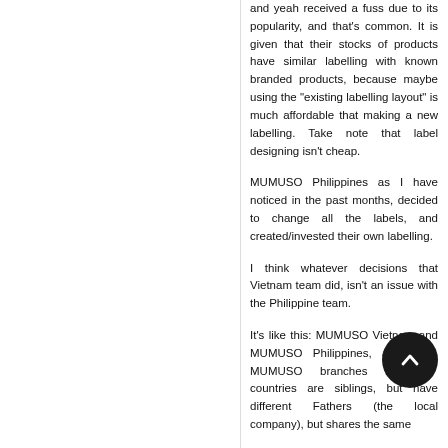and yeah received a fuss due to its popularity, and that's common. It is given that their stocks of products have similar labelling with known branded products, because maybe using the "existing labelling layout" is much affordable that making a new labelling. Take note that label designing isn't cheap.
MUMUSO Philippines as I have noticed in the past months, decided to change all the labels, and created/invested their own labelling.
I think whatever decisions that Vietnam team did, isn't an issue with the Philippine team.
It's like this: MUMUSO Vietnam and MUMUSO Philippines, and other MUMUSO branches in other countries are siblings, but have different Fathers (the local company), but shares the same Mother (the MUMUSO brand and...